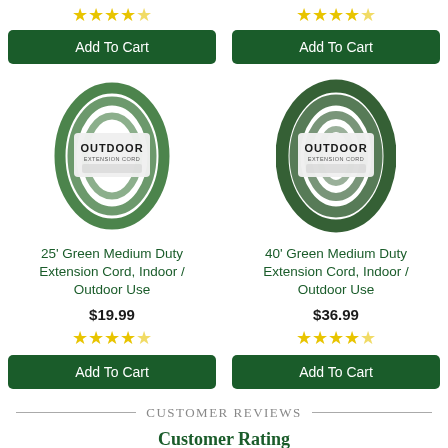[Figure (photo): 25 foot green outdoor extension cord coiled with product label]
25' Green Medium Duty Extension Cord, Indoor / Outdoor Use
$19.99
[Figure (other): 5-star rating (gold stars)]
Add To Cart
[Figure (photo): 40 foot green outdoor extension cord coiled with product label]
40' Green Medium Duty Extension Cord, Indoor / Outdoor Use
$36.99
[Figure (other): 5-star rating (gold stars)]
Add To Cart
Customer Reviews
Customer Rating